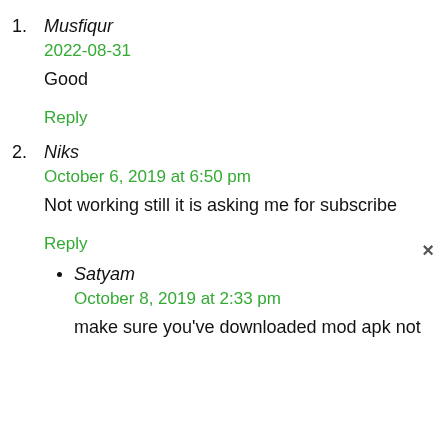1. Musfiqur
2022-08-31
Good
Reply
2. Niks
October 6, 2019 at 6:50 pm
Not working still it is asking me for subscribe
Reply
Satyam
October 8, 2019 at 2:33 pm
make sure you've downloaded mod apk not